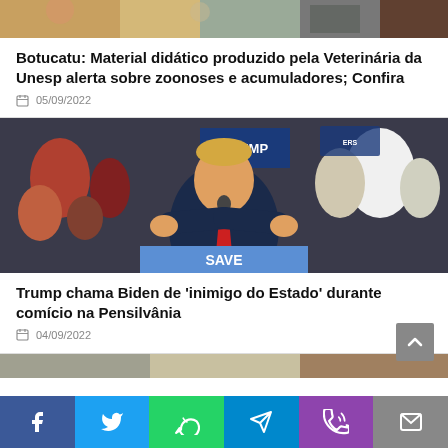[Figure (photo): Top partial image strip showing people or crowd, cropped]
Botucatu: Material didático produzido pela Veterinária da Unesp alerta sobre zoonoses e acumuladores; Confira
05/09/2022
[Figure (photo): Trump speaking at rally in Pennsylvania with 'TRUMP' and 'SAVE' signs visible in background, crowd behind him]
Trump chama Biden de 'inimigo do Estado' durante comício na Pensilvânia
04/09/2022
[Figure (photo): Bottom partial image strip, partial view of another article image]
Social share bar: Facebook, Twitter, WhatsApp, Telegram, Phone, Email